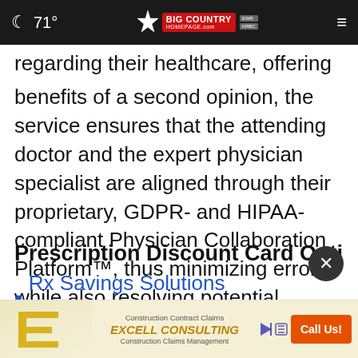71° | Big Country Homepage
regarding their healthcare, offering all the benefits of a second opinion, the service ensures that the attending doctor and the expert physician specialist are aligned through their proprietary, GDPR- and HIPAA-compliant Physician Collaboration Platform™, thus minimizing errors while also resolving potential conflicts regarding the diagnosis and treatment plan developed.
Prescription Discount Card Optimization:
Rx Savings Solutions (RxSS)